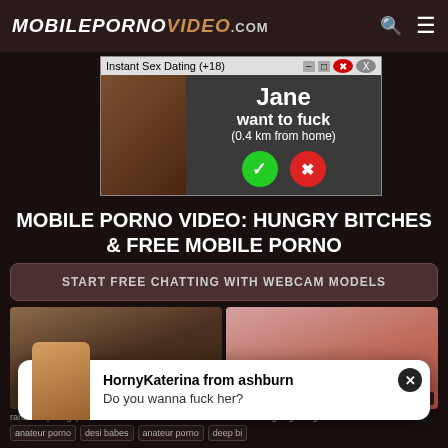MOBILEPORNOVIDEO.com
[Figure (screenshot): Pop-up advertisement: 'Instant Sex Dating (+18)' with image and text 'Jane want to fuck (0.4 km from home)' with accept/decline buttons]
MOBILE PORNO VIDEO: HUNGRY BITCHES & FREE MOBILE PORNO
START FREE CHATTING WITH WEBCAM MODELS
[Figure (screenshot): Two video thumbnails side by side with durations 0:22 and 5:36]
[Figure (screenshot): Pop-up overlay: HornyKaterina from ashburn - Do you wanna fuck her?]
rarehotclip.blogspot.in
cock-craving virgin vagina
anateur porno   desi babes   anateur porno   deep bi